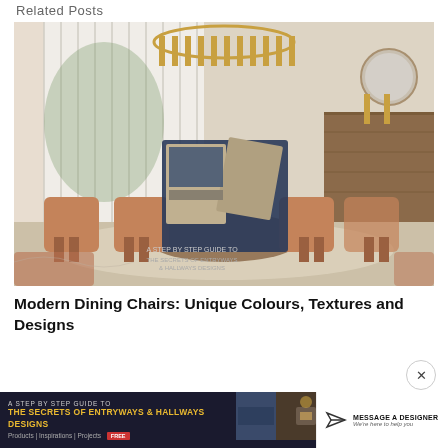Related Posts
[Figure (photo): Luxury dining room with warm tan/caramel upholstered chairs around a round table, gold circular chandelier, white vertical blinds, wood-paneled wall, round mirror, and a book overlay in the center of the image]
Modern Dining Chairs: Unique Colours, Textures and Designs
[Figure (screenshot): Bottom banner showing promotional content: 'A STEP BY STEP GUIDE TO THE SECRETS OF ENTRYWAYS & HALLWAYS DESIGNS' with navigation links (Products, Inspirations, Projects) and a FREE badge, alongside a white 'MESSAGE A DESIGNER' call-to-action with paper plane icon and subtext 'We're here to help you'. A close (X) circle button appears above the banner on the right.]